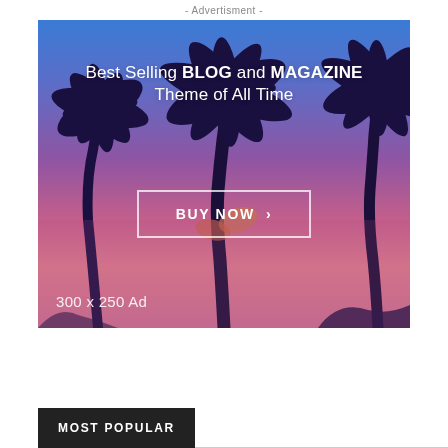- Advertisment -
[Figure (illustration): Advertisement banner showing palm trees silhouetted against a blue-to-pink gradient sunset sky, with text 'Best Selling BLOG and MAGAZINE Theme of All Time' and a 'BUY NOW >' button, labeled '300 x 250 Ad']
MOST POPULAR